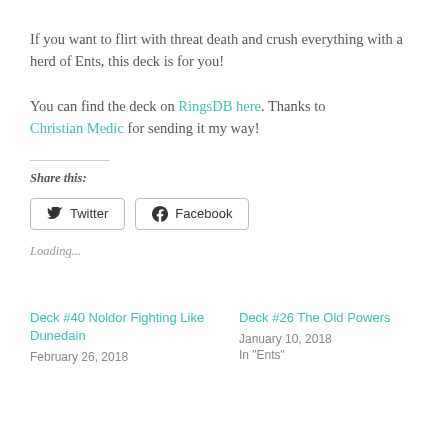If you want to flirt with threat death and crush everything with a herd of Ents, this deck is for you!
You can find the deck on RingsDB here. Thanks to Christian Medic for sending it my way!
Share this:
Twitter  Facebook
Loading...
Deck #40 Noldor Fighting Like Dunedain
February 26, 2018
Deck #26 The Old Powers
January 10, 2018
In "Ents"